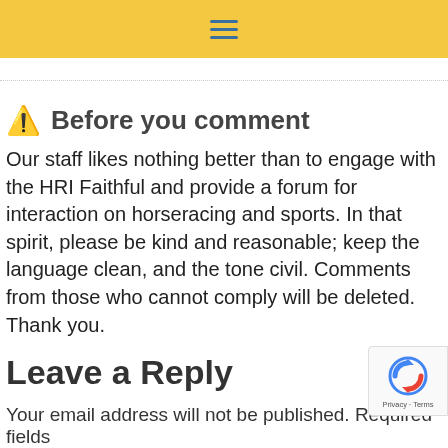Navigation menu header bar with hamburger icon
⚠ Before you comment
Our staff likes nothing better than to engage with the HRI Faithful and provide a forum for interaction on horseracing and sports. In that spirit, please be kind and reasonable; keep the language clean, and the tone civil. Comments from those who cannot comply will be deleted. Thank you.
Leave a Reply
Your email address will not be published. Required fields